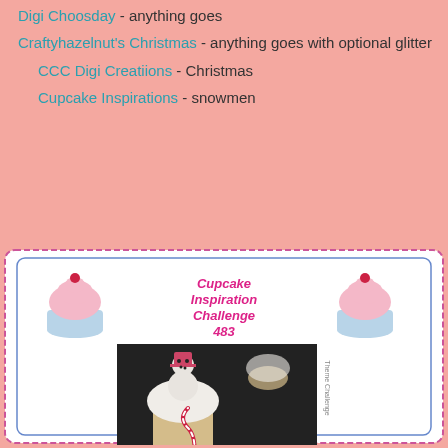Digi Choosday - anything goes
Craftyhazelnut's Christmas - anything goes with optional glitter
CCC Digi Creatiions - Christmas
Cupcake Inspirations - snowmen
[Figure (illustration): Cupcake Inspiration Challenge 483 badge with pink cupcake illustrations and a photo of snowman cupcakes with candy canes]